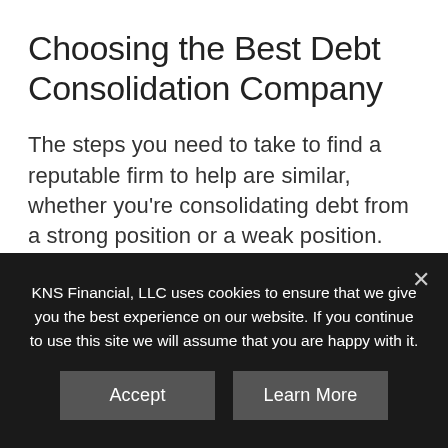Choosing the Best Debt Consolidation Company
The steps you need to take to find a reputable firm to help are similar, whether you're consolidating debt from a strong position or a weak position. However, you need to exercise a higher degree of caution, when you are in a weak position. Unfortunately, predators come out to take advantage of those who need the most help. They know that a desperate person is
KNS Financial, LLC uses cookies to ensure that we give you the best experience on our website. If you continue to use this site we will assume that you are happy with it.
Accept
Learn More